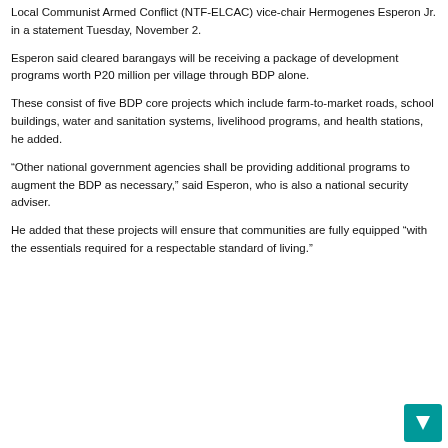Local Communist Armed Conflict (NTF-ELCAC) vice-chair Hermogenes Esperon Jr. in a statement Tuesday, November 2.
Esperon said cleared barangays will be receiving a package of development programs worth P20 million per village through BDP alone.
These consist of five BDP core projects which include farm-to-market roads, school buildings, water and sanitation systems, livelihood programs, and health stations, he added.
“Other national government agencies shall be providing additional programs to augment the BDP as necessary,” said Esperon, who is also a national security adviser.
He added that these projects will ensure that communities are fully equipped “with the essentials required for a respectable standard of living.”